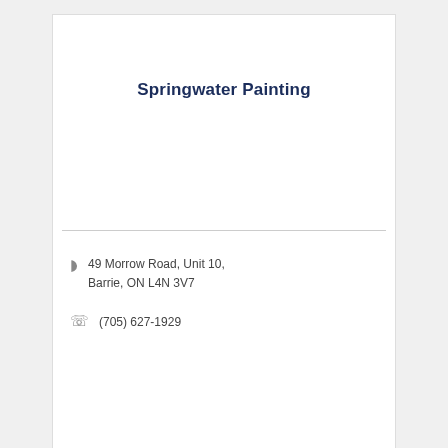Springwater Painting
49 Morrow Road, Unit 10,
Barrie, ON L4N 3V7
(705) 627-1929
Business Directory / News Releases / Events Calendar / Hot Deals / Member To Member Deals / Marketspace / Job Postings / Contact Us / Information & Brochures / Weather / Join The Chamber
Powered by GrowthZone